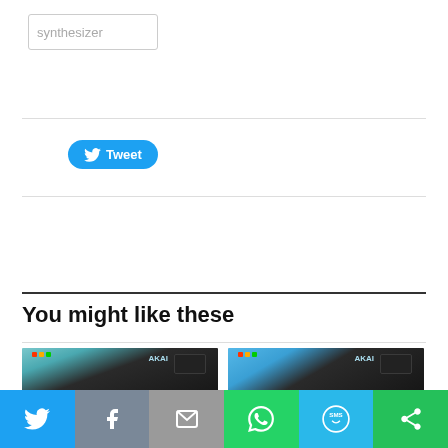synthesizer
[Figure (screenshot): Tweet button with Twitter bird icon]
You might like these
[Figure (photo): Akai MPC Key 61 workstation synthesizer keyboard, dark body with colorful pads and screen, on display]
Review – Akai MPC Key 61 workstation
[Figure (photo): Akai MPC Key 61 workstation synthesizer keyboard, dark body with colorful pads and screen, on display from different angle]
Gearjunkies video – The Akai MPC Key 61 workstation in 35
[Figure (screenshot): Social share bar with Twitter, Facebook, Email, WhatsApp, SMS, and More buttons]